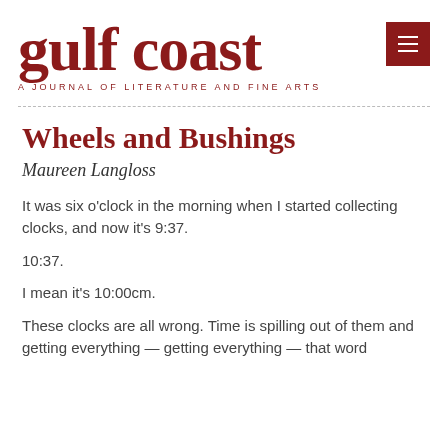Gulf Coast — A Journal of Literature and Fine Arts
Wheels and Bushings
Maureen Langloss
It was six o'clock in the morning when I started collecting clocks, and now it's 9:37.
10:37.
I mean it's 10:00cm.
These clocks are all wrong. Time is spilling out of them and getting everything — getting everything — that word